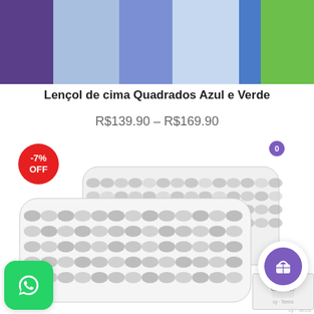[Figure (photo): Color swatch blocks in purple, light blue, periwinkle, light blue, blue, and green arranged horizontally]
Lençol de cima Quadrados Azul e Verde
R$139.90 – R$169.90
[Figure (photo): Product photo of pillows with gray scallop/wave pattern on white background, with -7% OFF discount badge in red circle, WhatsApp button, reCAPTCHA widget, and purple shopping cart button]
-7% OFF
cy - Terms